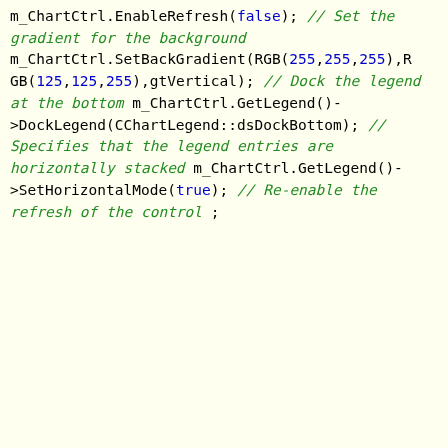[Figure (screenshot): Code snippet on yellow background showing C++ chart control code: m_ChartCtrl.EnableRefresh(false); // Set the gradient for the background m_ChartCtrl.SetBackGradient(RGB(255,255,255),RGB(125,125,255),gtVertical); // Dock the legend at the bottom m_ChartCtrl.GetLegend()->DockLegend(CChartLegend::dsDockBottom); // Specifies that the legend entries are horizontally stacked m_ChartCtrl.GetLegend()->SetHorizontalMode(true); // Re-enable the refresh of the control ;]
[Figure (screenshot): Orange cookie consent banner overlaid on page with text: 'Like every other website we use cookies. By using our site you acknowledge that you have read and understand our Cookie Policy, Privacy Policy, and our Terms of Service. Learn more' with buttons: Ask me later, Decline, Allow cookies]
[Figure (screenshot): Red-bordered text box partially visible at bottom right showing text about chart control with words: control, the control, e control, of some text, that the, ecessary]